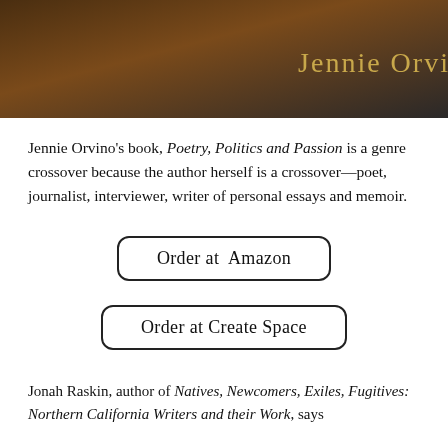[Figure (illustration): Dark brown gradient header image with golden text 'Jennie Orvino' on the right side]
Jennie Orvino’s book, Poetry, Politics and Passion is a genre crossover because the author herself is a crossover—poet, journalist, interviewer, writer of personal essays and memoir.
Order at  Amazon
Order at Create Space
Jonah Raskin, author of Natives, Newcomers, Exiles, Fugitives: Northern California Writers and their Work, says